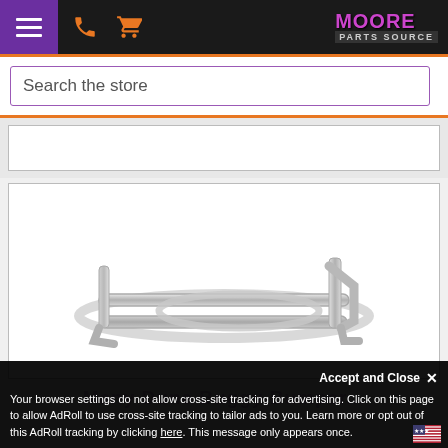[Figure (screenshot): Moore Parts Source website navigation bar with purple hamburger menu, phone and cart icons, and Moore Parts Source logo on black background]
Search the store
[Figure (photo): Chrome/silver metal dune buggy front bumper guard bracket on white background]
Many Dune Buggy Bumper...
Accept and Close ✕
Your browser settings do not allow cross-site tracking for advertising. Click on this page to allow AdRoll to use cross-site tracking to tailor ads to you. Learn more or opt out of this AdRoll tracking by clicking here. This message only appears once.